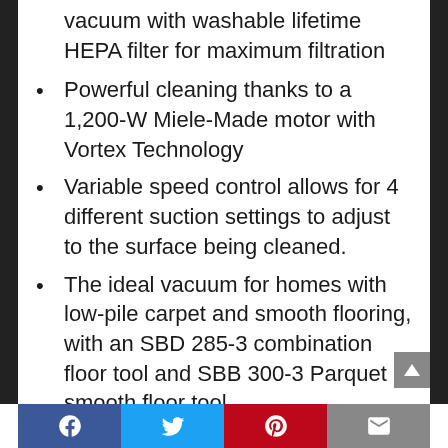vacuum with washable lifetime HEPA filter for maximum filtration
Powerful cleaning thanks to a 1,200-W Miele-Made motor with Vortex Technology
Variable speed control allows for 4 different suction settings to adjust to the surface being cleaned.
The ideal vacuum for homes with low-pile carpet and smooth flooring, with an SBD 285-3 combination floor tool and SBB 300-3 Parquet smooth floor tool
Additional tools include Crevice